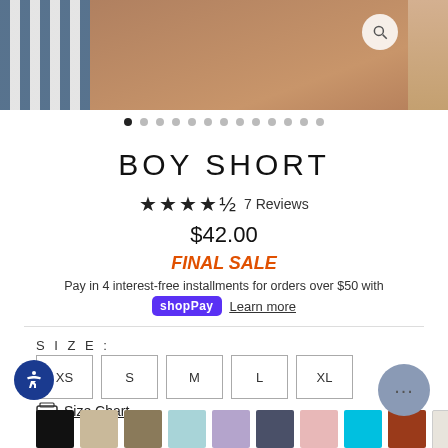[Figure (photo): Product photo strip showing boy short underwear worn by a model, with striped fabric on the left side and a zoomed-in center image on a beige/tan background.]
BOY SHORT
★★★★½  7 Reviews
$42.00
FINAL SALE
Pay in 4 interest-free installments for orders over $50 with
shopPay  Learn more
SIZE :
XS
S
M
L
XL
Size Chart
LOR :